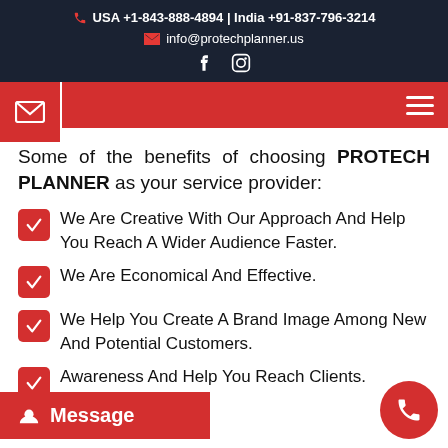USA +1-843-888-4894 | India +91-837-796-3214
info@protechplanner.us
Some of the benefits of choosing PROTECH PLANNER as your service provider:
We Are Creative With Our Approach And Help You Reach A Wider Audience Faster.
We Are Economical And Effective.
We Help You Create A Brand Image Among New And Potential Customers.
... Awareness And Help You Reach Clients.